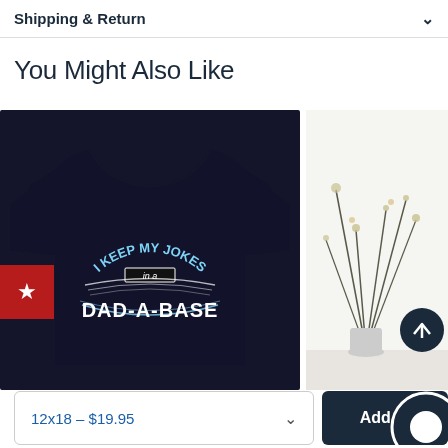Shipping & Return
You Might Also Like
[Figure (photo): Black t-shirt with text 'I KEEP MY JOKES in a DAD-A-BASE' printed on it, with a red wishlist badge with a star in the lower left corner]
[Figure (photo): Partial image of a minimalist white room with dried flowers/plants in a vase]
12x18 – $19.95
Add to